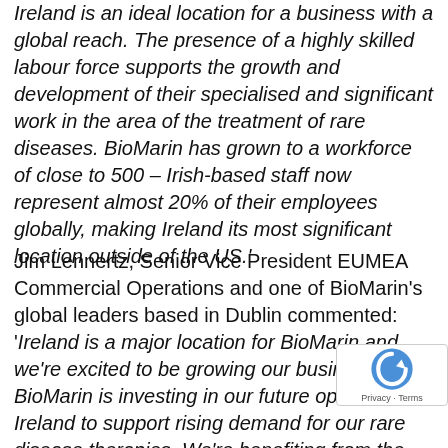Ireland is an ideal location for a business with a global reach. The presence of a highly skilled labour force supports the growth and development of their specialised and significant work in the area of the treatment of rare diseases. BioMarin has grown to a workforce of close to 500 – Irish-based staff now represent almost 20% of their employees globally, making Ireland its most significant location outside of the US.'
Jim Lennertz, Senior Vice President EUMEA Commercial Operations and one of BioMarin's global leaders based in Dublin commented: 'Ireland is a major location for BioMarin and we're excited to be growing our business here. BioMarin is investing in our future operations in Ireland to support rising demand for our rare disease therapies. We're benefiting from the exceptional pool of life sciences talent and expertise in Ireland, which means can recruit the right people at a time when the Company has a number of exciting innovations in the pipeline and